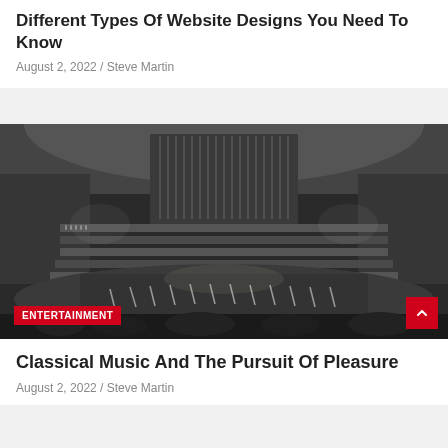Different Types Of Website Designs You Need To Know
August 2, 2022 / Steve Martin
[Figure (photo): Black and white photo of a large concert hall with an orchestra on stage and a full choir in the background, audience visible in foreground]
ENTERTAINMENT
Classical Music And The Pursuit Of Pleasure
August 2, 2022 / Steve Martin